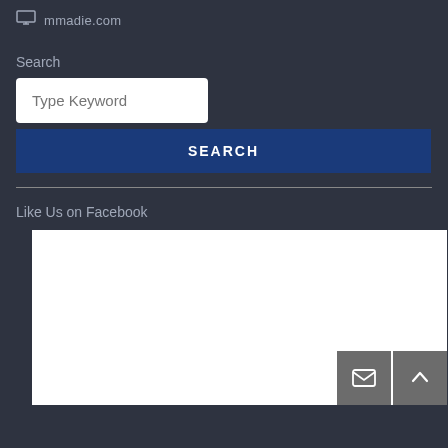mmadie.com
Search
Type Keyword
SEARCH
Like Us on Facebook
[Figure (screenshot): White Facebook embed box with envelope and scroll-to-top buttons at bottom right]